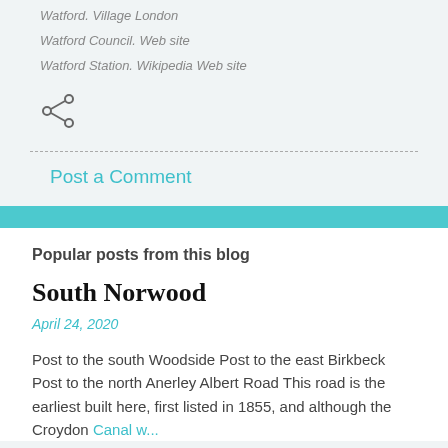Watford. Village London
Watford Council. Web site
Watford Station. Wikipedia Web site
[Figure (other): Share icon (less-than symbol with three dots)]
Post a Comment
Popular posts from this blog
South Norwood
April 24, 2020
Post to the south Woodside Post to the east Birkbeck Post to the north Anerley Albert Road This road is the earliest built here, first listed in 1855, and although the Croydon Canal w...